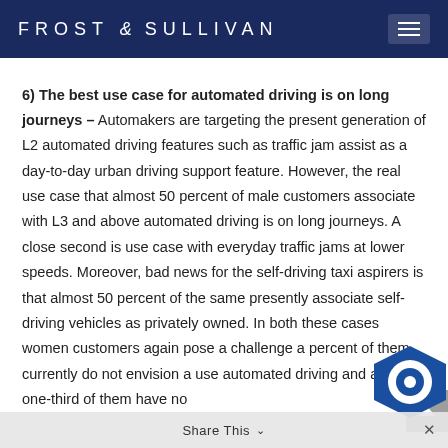FROST & SULLIVAN
6) The best use case for automated driving is on long journeys – Automakers are targeting the present generation of L2 automated driving features such as traffic jam assist as a day-to-day urban driving support feature. However, the real use case that almost 50 percent of male customers associate with L3 and above automated driving is on long journeys. A close second is use case with everyday traffic jams at lower speeds. Moreover, bad news for the self-driving taxi aspirers is that almost 50 percent of the same presently associate self-driving vehicles as privately owned. In both these cases women customers again pose a challenge as percent of them currently do not envision a use automated driving and almost one-third of them have no